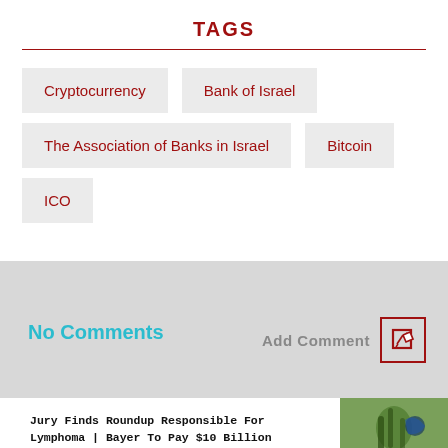TAGS
Cryptocurrency
Bank of Israel
The Association of Banks in Israel
Bitcoin
ICO
No Comments
Add Comment
Jury Finds Roundup Responsible For Lymphoma | Bayer To Pay $10 Billion
nnon | National Injury Bureau